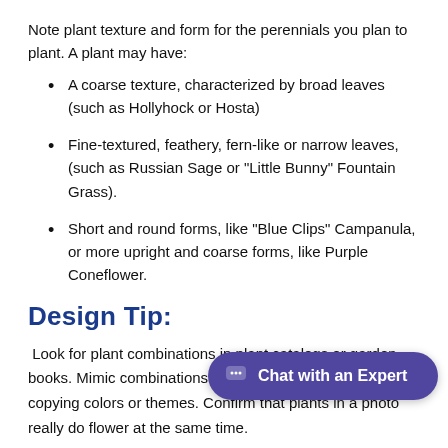Note plant texture and form for the perennials you plan to plant. A plant may have:
A coarse texture, characterized by broad leaves (such as Hollyhock or Hosta)
Fine-textured, feathery, fern-like or narrow leaves, (such as Russian Sage or "Little Bunny" Fountain Grass).
Short and round forms, like "Blue Clips" Campanula, or more upright and coarse forms, like Purple Coneflower.
Design Tip:
Look for plant combinations in plant catalogs or garden books. Mimic combinations exactly, or let them inspire you, copying colors or themes. Confirm that plants in a photo really do flower at the same time.